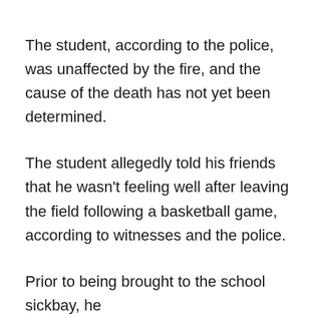The student, according to the police, was unaffected by the fire, and the cause of the death has not yet been determined.
The student allegedly told his friends that he wasn't feeling well after leaving the field following a basketball game, according to witnesses and the police.
Prior to being brought to the school sickbay, he